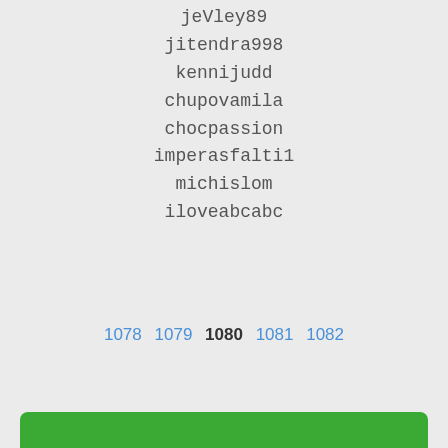jeVley89
jitendra998
kennijudd
chupovamila
chocpassion
imperasfalti1
michislom
iloveabcabc
1078  1079  1080  1081  1082